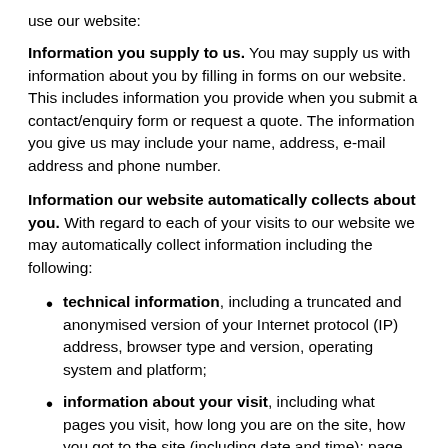use our website:
Information you supply to us. You may supply us with information about you by filling in forms on our website. This includes information you provide when you submit a contact/enquiry form or request a quote. The information you give us may include your name, address, e-mail address and phone number.
Information our website automatically collects about you. With regard to each of your visits to our website we may automatically collect information including the following:
technical information, including a truncated and anonymised version of your Internet protocol (IP) address, browser type and version, operating system and platform;
information about your visit, including what pages you visit, how long you are on the site, how you got to the site (including date and time); page response times, length of visit, what you click on, documents downloaded and download errors.